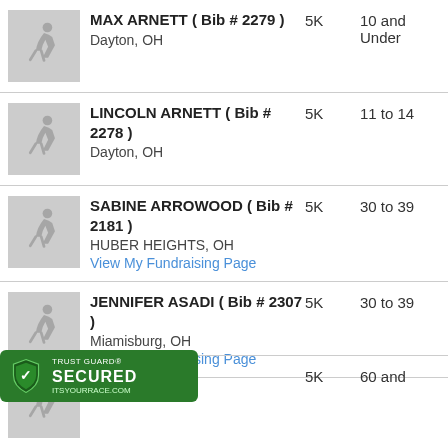MAX ARNETT ( Bib # 2279 ) Dayton, OH | 5K | 10 and Under
LINCOLN ARNETT ( Bib # 2278 ) Dayton, OH | 5K | 11 to 14
SABINE ARROWOOD ( Bib # 2181 ) HUBER HEIGHTS, OH | View My Fundraising Page | 5K | 30 to 39
JENNIFER ASADI ( Bib # 2307 ) Miamisburg, OH | View My Fundraising Page | 5K | 30 to 39
BAKOS ( Bib | 5K | 60 and
[Figure (logo): Trust Guard Secured badge with shield icon and itsyourrace.com URL]